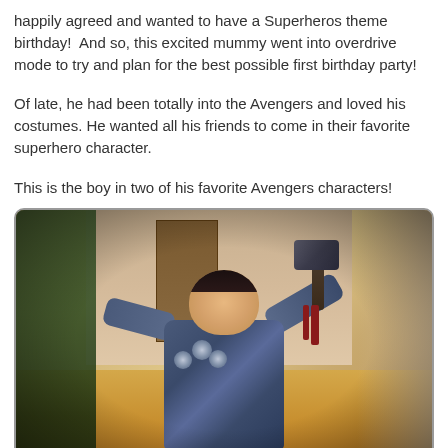happily agreed and wanted to have a Superheros theme birthday!  And so, this excited mummy went into overdrive mode to try and plan for the best possible first birthday party!
Of late, he had been totally into the Avengers and loved his costumes. He wanted all his friends to come in their favorite superhero character.
This is the boy in two of his favorite Avengers characters!
[Figure (photo): A young boy dressed in a Thor (Avengers) costume, arms outstretched, holding a toy Mjolnir hammer raised above his right shoulder. He wears a blue and red Thor armor suit. Background shows a Christmas tree on the left and a hallway/door. The photo has a border with rounded corners and a dark edge.]